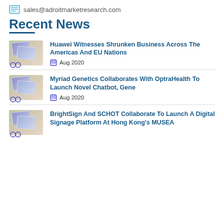sales@adroitmarketresearch.com
Recent News
Huawei Witnesses Shrunken Business Across The Americas And EU Nations — Aug 2020
Myriad Genetics Collaborates With OptraHealth To Launch Novel Chatbot, Gene — Aug 2020
BrightSign And SCHOT Collaborate To Launch A Digital Signage Platform At Hong Kong's MUSEA